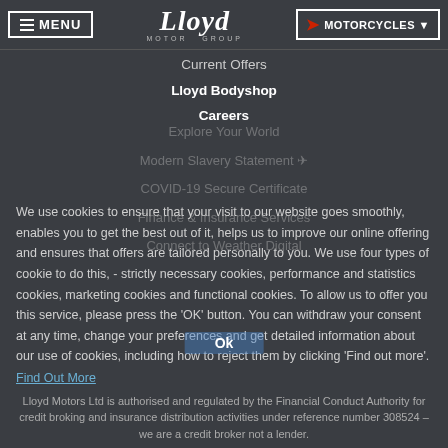MENU | Lloyd Motor Group | MOTORCYCLES
Current Offers
Lloyd Bodyshop
Careers
Explore Your World
Modern Slavery Statement
COVID-19 Secure Certificate
Finance & Insurance Services
Connect to Weather Digital
We use cookies to ensure that your visit to our website goes smoothly, enables you to get the best out of it, helps us to improve our online offering and ensures that offers are tailored personally to you. We use four types of cookie to do this, - strictly necessary cookies, performance and statistics cookies, marketing cookies and functional cookies. To allow us to offer you this service, please press the 'OK' button. You can withdraw your consent at any time, change your preferences and get detailed information about our use of cookies, including how to reject them by clicking 'Find out more'.
Find Out More
Ok
Lloyd Motors Ltd is authorised and regulated by the Financial Conduct Authority for credit broking and insurance distribution activities under reference number 308524 – we are a credit broker not a lender.